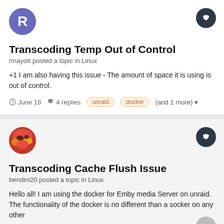[Figure (illustration): Purple circle avatar with letter R]
Transcoding Temp Out of Control
rmayott posted a topic in Linux
+1 I am also having this issue - The amount of space it is using is out of control.
June 18  4 replies  unraid  docker  (and 1 more)
[Figure (illustration): Circular avatar with orange and red abstract pattern (bendini20)]
Transcoding Cache Flush Issue
bendini20 posted a topic in Linux
Hello all! I am using the docker for Emby media Server on unraid. The functionality of the docker is no different than a socker on any other
April 10  3 replies  docker  unraid  (and 2 more)